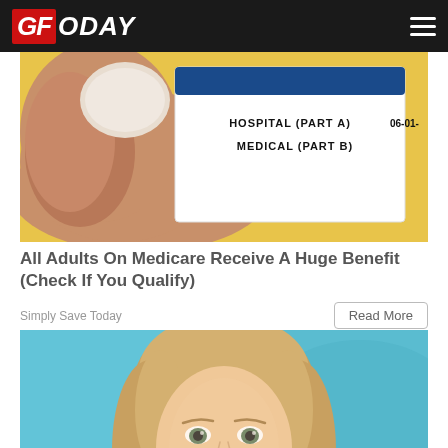GFToday
[Figure (photo): Photo of a hand holding a Medicare insurance card showing HOSPITAL (PART A) and MEDICAL (PART B) with date 06-01-, on a yellow background]
All Adults On Medicare Receive A Huge Benefit (Check If You Qualify)
Simply Save Today
[Figure (photo): Photo of a blonde woman with wide eyes looking upward, against a teal/blue background]